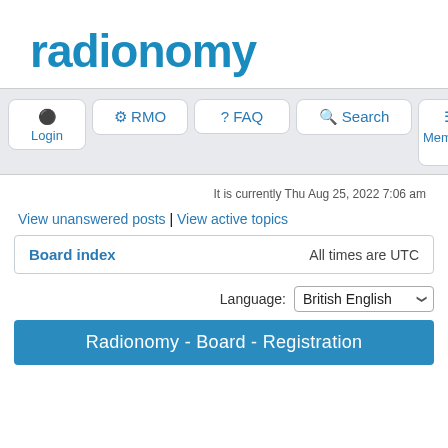[Figure (logo): Radionomy logo in blue text]
Login | RMO | FAQ | Search | Members navigation bar
It is currently Thu Aug 25, 2022 7:06 am
View unanswered posts | View active topics
| Board index | All times are UTC |
| --- | --- |
Language: British English
Radionomy - Board - Registration